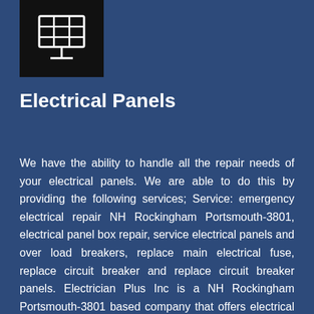[Figure (logo): White solar panel / electrical panel icon on black background]
Electrical Panels
We have the ability to handle all the repair needs of your electrical panels. We are able to do this by providing the following services; Service: emergency electrical repair NH Rockingham Portsmouth-3801, electrical panel box repair, service electrical panels and over load breakers, replace main electrical fuse, replace circuit breaker and replace circuit breaker panels. Electrician Plus Inc is a NH Rockingham Portsmouth-3801 based company that offers electrical repairs in NH Rockingham Portsmouth-3801. We are a company that has been in business for over 20 years, providing services to both residential and commercial customers. Our goal is to make sure that you have an effective and safe